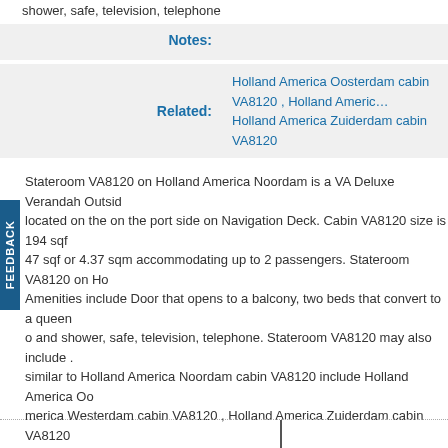shower, safe, television, telephone
| Label | Value |
| --- | --- |
| Notes: |  |
| Related: | Holland America Oosterdam cabin VA8120 , Holland America Westerdam cabin VA8120 , Holland America Zuiderdam cabin VA8120 |
Stateroom VA8120 on Holland America Noordam is a VA Deluxe Verandah Outside located on the on the port side on Navigation Deck. Cabin VA8120 size is 194 sqf 47 sqf or 4.37 sqm accommodating up to 2 passengers. Stateroom VA8120 on Ho Amenities include Door that opens to a balcony, two beds that convert to a queen and shower, safe, television, telephone. Stateroom VA8120 may also include similar to Holland America Noordam cabin VA8120 include Holland America Oo merica Westerdam cabin VA8120 , Holland America Zuiderdam cabin VA8120
Holland America Noordam Cabin VA8120 Cruise Reviews
Have you sailed in Holland America Noordam Cabin VA8120? Why not add a cruise review of Cabin VA8120 or add photos of Holland America Noordam Cabin VA8120 so fellow cruise cabin for their cruise vacation.
[Figure (other): Green 'Add Your Pictures' button]